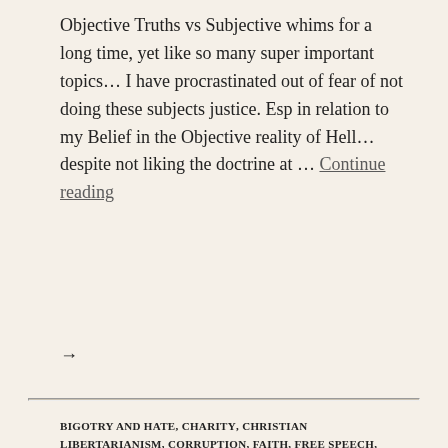Objective Truths vs Subjective whims for a long time, yet like so many super important topics… I have procrastinated out of fear of not doing these subjects justice. Esp in relation to my Belief in the Objective reality of Hell… despite not liking the doctrine at … Continue reading →
BIGOTRY AND HATE, CHARITY, CHRISTIAN LIBERTARIANISM, CORRUPTION, FAITH, FREE SPEECH, GRACE, HEDONISM, HYPOCRITES, LIBERATE YOUR MIND!, LOVE, MERCIFUL GRACE, PSYCHOLOGY, RATIONALITY, SATAN LAUGHING SPREADS HIS WINGS, TRUTH
SWEARING